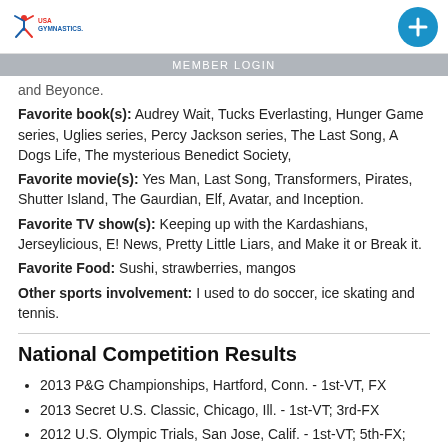USA GYMNASTICS
MEMBER LOGIN
and Beyonce.
Favorite book(s): Audrey Wait, Tucks Everlasting, Hunger Game series, Uglies series, Percy Jackson series, The Last Song, A Dogs Life, The mysterious Benedict Society,
Favorite movie(s): Yes Man, Last Song, Transformers, Pirates, Shutter Island, The Gaurdian, Elf, Avatar, and Inception.
Favorite TV show(s): Keeping up with the Kardashians, Jerseylicious, E! News, Pretty Little Liars, and Make it or Break it.
Favorite Food: Sushi, strawberries, mangos
Other sports involvement: I used to do soccer, ice skating and tennis.
National Competition Results
2013 P&G Championships, Hartford, Conn. - 1st-VT, FX
2013 Secret U.S. Classic, Chicago, Ill. - 1st-VT; 3rd-FX
2012 U.S. Olympic Trials, San Jose, Calif. - 1st-VT; 5th-FX;